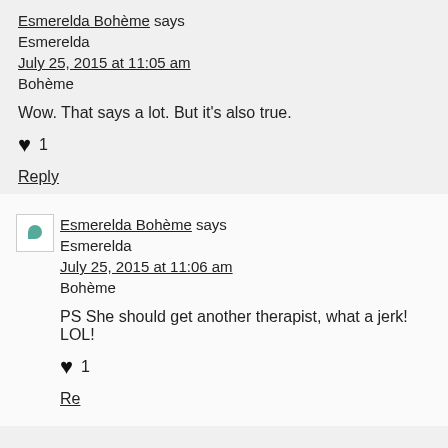Esmerelda Bohème says
July 25, 2015 at 11:05 am
Esmerelda Bohème
Wow. That says a lot. But it's also true.
♥ 1
Reply
Esmerelda Bohème says
July 25, 2015 at 11:06 am
Esmerelda Bohème
PS She should get another therapist, what a jerk! LOL!
♥ 1
Reply